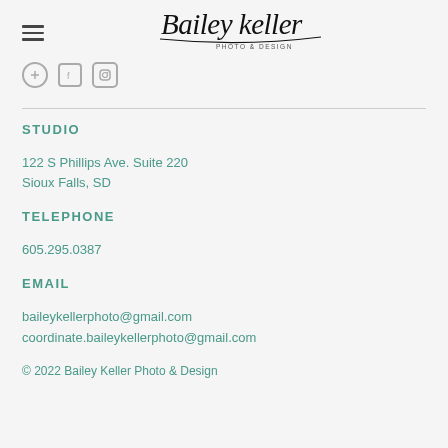[Figure (logo): Bailey Keller Photo & Design script logo in black]
STUDIO
122 S Phillips Ave. Suite 220
Sioux Falls, SD
TELEPHONE
605.295.0387
EMAIL
baileykellerphoto@gmail.com
coordinate.baileykellerphoto@gmail.com
© 2022 Bailey Keller Photo & Design